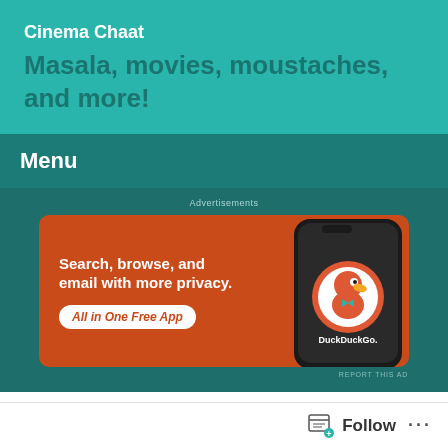Cinema Chaat
Masala, movies, moustaches, and more!
Menu
Advertisements
[Figure (screenshot): DuckDuckGo advertisement banner with orange background showing 'Search, browse, and email with more privacy. All in One Free App' with phone mockup and DuckDuckGo logo]
REPORT THIS AD
Tag Archives: Remya Nambeesan
Follow